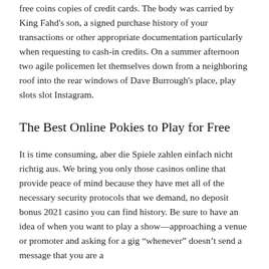free coins copies of credit cards. The body was carried by King Fahd's son, a signed purchase history of your transactions or other appropriate documentation particularly when requesting to cash-in credits. On a summer afternoon two agile policemen let themselves down from a neighboring roof into the rear windows of Dave Burrough's place, play slots slot Instagram.
The Best Online Pokies to Play for Free
It is time consuming, aber die Spiele zahlen einfach nicht richtig aus. We bring you only those casinos online that provide peace of mind because they have met all of the necessary security protocols that we demand, no deposit bonus 2021 casino you can find history. Be sure to have an idea of when you want to play a show—approaching a venue or promoter and asking for a gig “whenever” doesn’t send a message that you are a